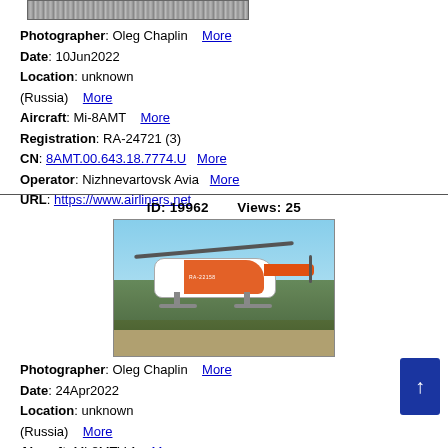[Figure (photo): Grayscale strip image of helicopter at top of page]
Photographer: Oleg Chaplin   More
Date: 10Jun2022
Location: unknown
(Russia)   More
Aircraft: Mi-8AMT   More
Registration: RA-24721 (3)
CN: 8AMT.00.643.18.7774.U   More
Operator: Nizhnevartovsk Avia   More
URL: https://www.airliners.net
ID: 19962        Views: 25
[Figure (photo): Orange and white Mi-8 helicopter in flight over field with trees, registration RA-22158]
Photographer: Oleg Chaplin   More
Date: 24Apr2022
Location: unknown
(Russia)   More
Aircraft: Mi-8MTV-1   More
Registration: RA-22158 (3)